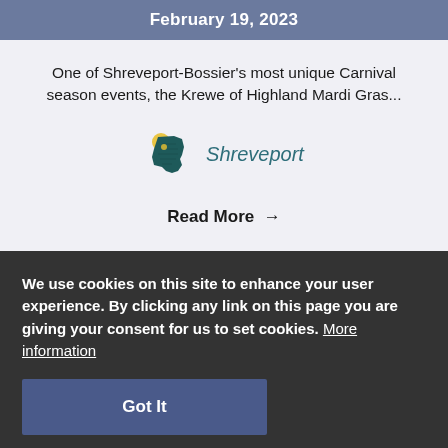February 19, 2023
One of Shreveport-Bossier's most unique Carnival season events, the Krewe of Highland Mardi Gras...
[Figure (other): Louisiana state map icon with yellow highlight and dark teal fill, next to italic text 'Shreveport']
Read More →
We use cookies on this site to enhance your user experience. By clicking any link on this page you are giving your consent for us to set cookies. More information
Got It